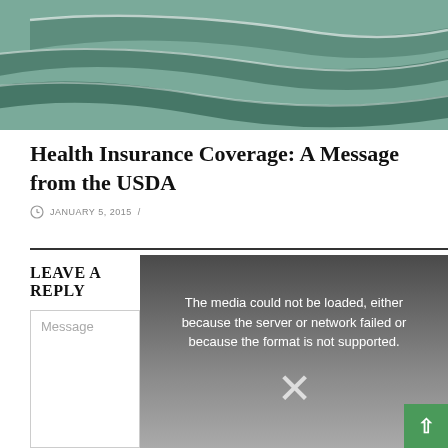[Figure (illustration): USDA green decorative wave/stripe banner header graphic with flowing curved lines on teal/sage green background]
Health Insurance Coverage: A Message from the USDA
JANUARY 5, 2015 /
[Figure (screenshot): Video player error overlay with dark gradient background showing message: 'The media could not be loaded, either because the server or network failed or because the format is not supported.' with a close X button]
LEAVE A REPLY
Message